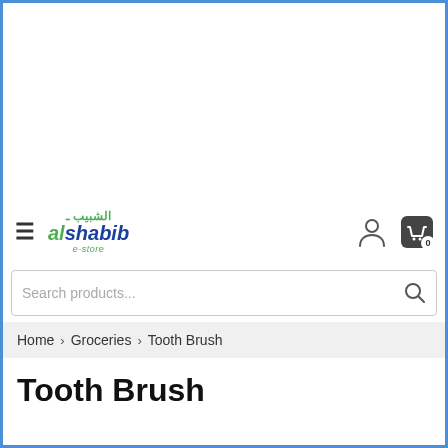[Figure (screenshot): alshabib e-store website screenshot showing header with logo, search bar, breadcrumb navigation, and page title 'Tooth Brush']
alshabib e-store
Search products...
Home > Groceries > Tooth Brush
Tooth Brush